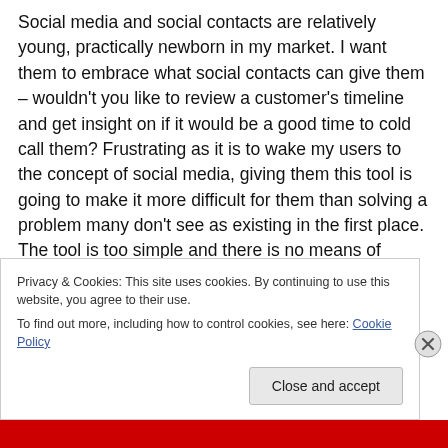Social media and social contacts are relatively young, practically newborn in my market. I want them to embrace what social contacts can give them – wouldn't you like to review a customer's timeline and get insight on if it would be a good time to cold call them? Frustrating as it is to wake my users to the concept of social media, giving them this tool is going to make it more difficult for them than solving a problem many don't see as existing in the first place. The tool is too simple and there is no means of bypassing the connector. So if you did know my name as it is used on Facebook and wanted to connect my profile to
Privacy & Cookies: This site uses cookies. By continuing to use this website, you agree to their use.
To find out more, including how to control cookies, see here: Cookie Policy